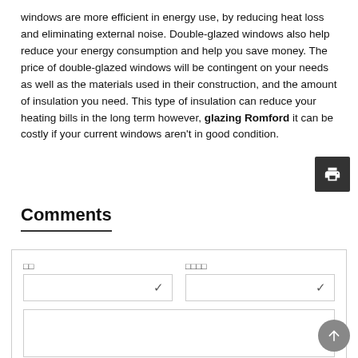windows are more efficient in energy use, by reducing heat loss and eliminating external noise. Double-glazed windows also help reduce your energy consumption and help you save money. The price of double-glazed windows will be contingent on your needs as well as the materials used in their construction, and the amount of insulation you need. This type of insulation can reduce your heating bills in the long term however, glazing Romford it can be costly if your current windows aren't in good condition.
[Figure (other): Print button icon (printer symbol on dark background)]
Comments
Form with fields: Name (□□), Email (□□□□), and a text area.